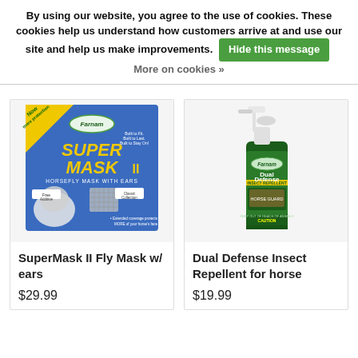By using our website, you agree to the use of cookies. These cookies help us understand how customers arrive at and use our site and help us make improvements. Hide this message More on cookies »
[Figure (photo): SuperMask II Fly Mask with ears product box by Farnam]
SuperMask II Fly Mask w/ ears
$29.99
[Figure (photo): Dual Defense Insect Repellent for horse spray bottle by Farnam]
Dual Defense Insect Repellent for horse
$19.99